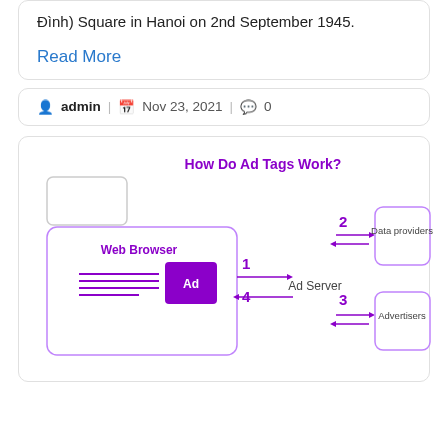Đình) Square in Hanoi on 2nd September 1945.
Read More
admin | Nov 23, 2021 | 0
[Figure (flowchart): Diagram titled 'How Do Ad Tags Work?' showing Web Browser connected via arrows labeled 1 and 4 to Ad Server, which connects via arrows labeled 2 and 3 to Data providers and Advertisers boxes.]